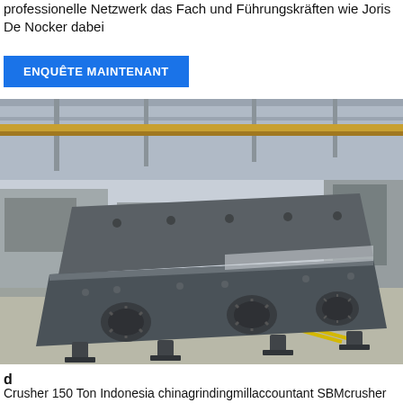professionelle Netzwerk das Fach und Führungskräften wie Joris De Nocker dabei
ENQUÊTE MAINTENANT
[Figure (photo): Industrial vibratory screen/sifter machine in a large factory warehouse setting. The machine is a large grey steel unit with multiple eccentric weights/motors visible, resting on legs. Factory cranes and other equipment visible in background.]
d
Crusher 150 Ton Indonesia chinagrindingmillaccountant SBMcrusher indonesian stone crushing machine which lik 150 Ton New Series SBRUSHER I